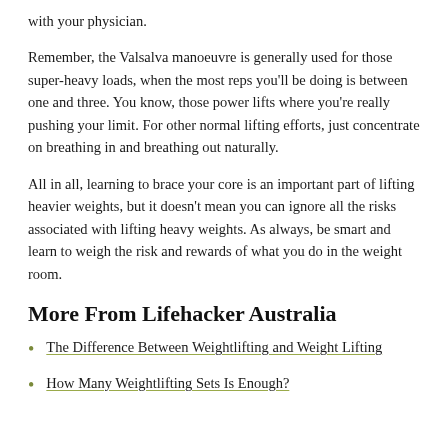with your physician.
Remember, the Valsalva manoeuvre is generally used for those super-heavy loads, when the most reps you'll be doing is between one and three. You know, those power lifts where you're really pushing your limit. For other normal lifting efforts, just concentrate on breathing in and breathing out naturally.
All in all, learning to brace your core is an important part of lifting heavier weights, but it doesn't mean you can ignore all the risks associated with lifting heavy weights. As always, be smart and learn to weigh the risk and rewards of what you do in the weight room.
More From Lifehacker Australia
The Difference Between Weightlifting and Weight Lifting
How Many Weightlifting Sets Is Enough?